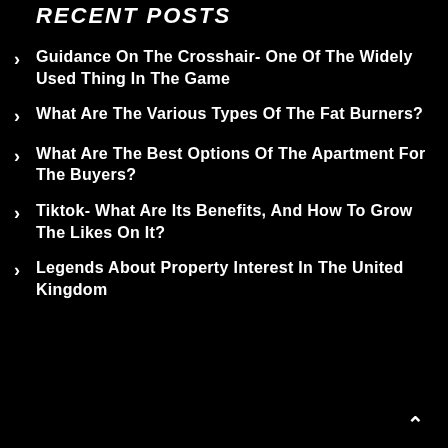RECENT POSTS
Guidance On The Crosshair- One Of The Widely Used Thing In The Game
What Are The Various Types Of The Fat Burners?
What Are The Best Options Of The Apartment For The Buyers?
Tiktok- What Are Its Benefits, And How To Grow The Likes On It?
Legends About Property Interest In The United Kingdom